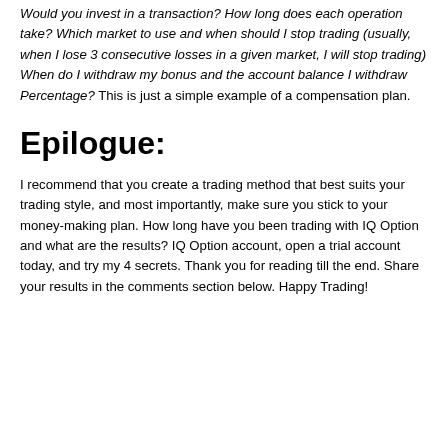Would you invest in a transaction? How long does each operation take? Which market to use and when should I stop trading (usually, when I lose 3 consecutive losses in a given market, I will stop trading) When do I withdraw my bonus and the account balance I withdraw Percentage? This is just a simple example of a compensation plan.
Epilogue:
I recommend that you create a trading method that best suits your trading style, and most importantly, make sure you stick to your money-making plan. How long have you been trading with IQ Option and what are the results? IQ Option account, open a trial account today, and try my 4 secrets. Thank you for reading till the end. Share your results in the comments section below. Happy Trading!